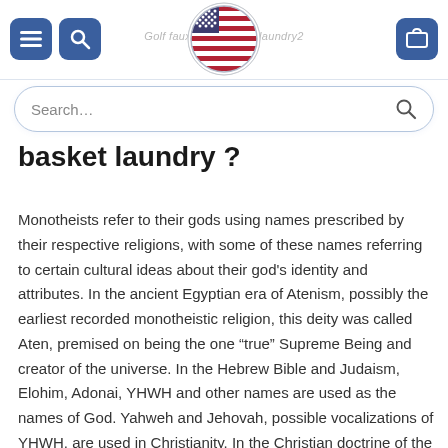Navigation header with menu, search, logo, and cart icons
basket laundry ?
Monotheists refer to their gods using names prescribed by their respective religions, with some of these names referring to certain cultural ideas about their god's identity and attributes. In the ancient Egyptian era of Atenism, possibly the earliest recorded monotheistic religion, this deity was called Aten, premised on being the one “true” Supreme Being and creator of the universe. In the Hebrew Bible and Judaism, Elohim, Adonai, YHWH and other names are used as the names of God. Yahweh and Jehovah, possible vocalizations of YHWH, are used in Christianity. In the Christian doctrine of the Trinity, God,